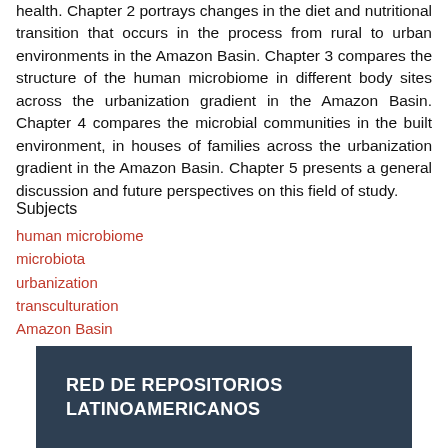health. Chapter 2 portrays changes in the diet and nutritional transition that occurs in the process from rural to urban environments in the Amazon Basin. Chapter 3 compares the structure of the human microbiome in different body sites across the urbanization gradient in the Amazon Basin. Chapter 4 compares the microbial communities in the built environment, in houses of families across the urbanization gradient in the Amazon Basin. Chapter 5 presents a general discussion and future perspectives on this field of study.
Subjects
human microbiome
microbiota
urbanization
transculturation
Amazon Basin
Show full item record
RED DE REPOSITORIOS LATINOAMERICANOS